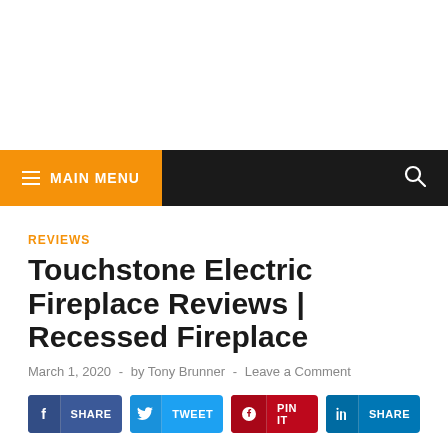MAIN MENU
REVIEWS
Touchstone Electric Fireplace Reviews | Recessed Fireplace
March 1, 2020  -  by Tony Brunner  -  Leave a Comment
f  SHARE
TWEET
PIN IT
in  SHARE